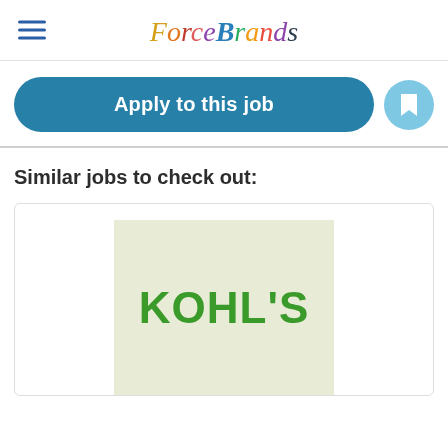[Figure (logo): ForceBrands logo in multicolor italic script font]
Apply to this job
Similar jobs to check out:
[Figure (logo): Kohl's green logo on a light green/beige background square]